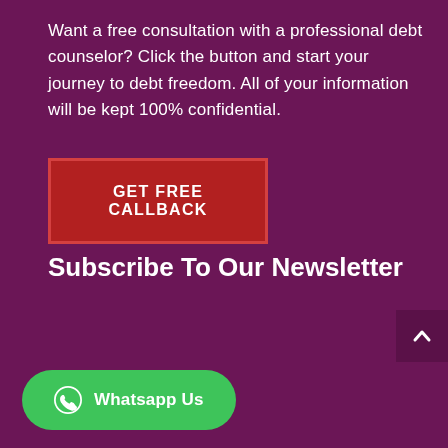Want a free consultation with a professional debt counselor? Click the button and start your journey to debt freedom. All of your information will be kept 100% confidential.
GET FREE CALLBACK
Subscribe To Our Newsletter
Whatsapp Us